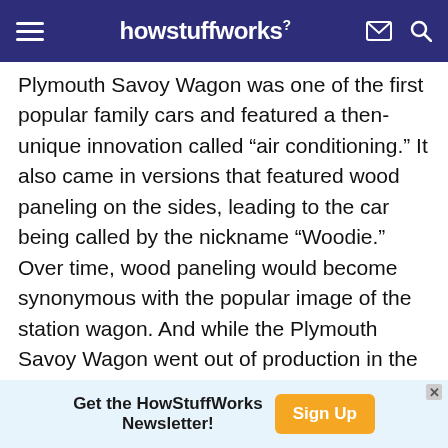howstuffworks
Plymouth Savoy Wagon was one of the first popular family cars and featured a then-unique innovation called “air conditioning.” It also came in versions that featured wood paneling on the sides, leading to the car being called by the nickname “Woodie.” Over time, wood paneling would become synonymous with the popular image of the station wagon. And while the Plymouth Savoy Wagon went out of production in the mid-1960s, it spawned a legion of copycat cars and ushered in the era of the station wagon as the ultimate suburban family vehicle
Get the HowStuffWorks Newsletter! Sign Up